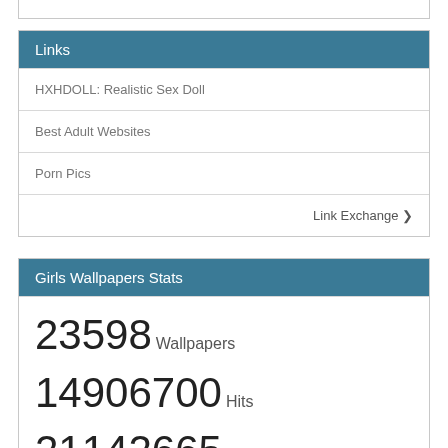Links
HXHDOLL: Realistic Sex Doll
Best Adult Websites
Porn Pics
Link Exchange ❯
Girls Wallpapers Stats
23598 Wallpapers
14906700 Hits
21142665 Downloads